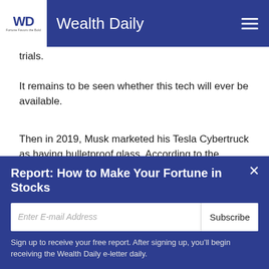Wealth Daily
trials.
It remains to be seen whether this tech will ever be available.
Then in 2019, Musk marketed his Tesla Cybertruck as having bulletproof glass. According to the company's website, the patented Tesla Armor Glass is an “ultra-
Report: How to Make Your Fortune in Stocks
Sign up to receive your free report. After signing up, you'll begin receiving the Wealth Daily e-letter daily.